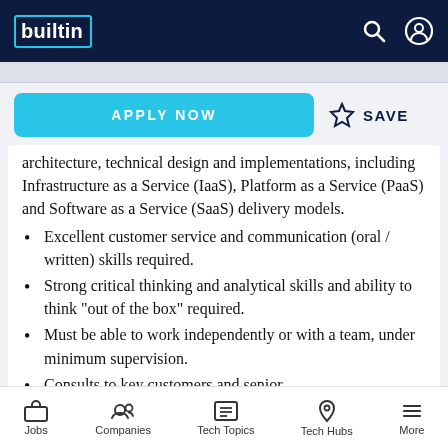builtin [logo]
architecture, technical design and implementations, including Infrastructure as a Service (IaaS), Platform as a Service (PaaS) and Software as a Service (SaaS) delivery models.
Excellent customer service and communication (oral / written) skills required.
Strong critical thinking and analytical skills and ability to think "out of the box" required.
Must be able to work independently or with a team, under minimum supervision.
Consults to key customers and senior
Jobs | Companies | Tech Topics | Tech Hubs | More